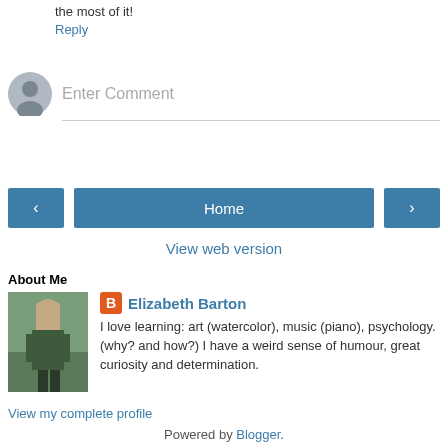the most of it!
Reply
[Figure (illustration): Comment input area with grey avatar silhouette icon and 'Enter Comment' placeholder text with underline]
[Figure (infographic): Navigation buttons: left arrow button, Home button, right arrow button]
View web version
About Me
[Figure (photo): Profile photo of Elizabeth Barton standing outdoors near water]
Elizabeth Barton
I love learning: art (watercolor), music (piano), psychology. (why? and how?) I have a weird sense of humour, great curiosity and determination.
View my complete profile
Powered by Blogger.